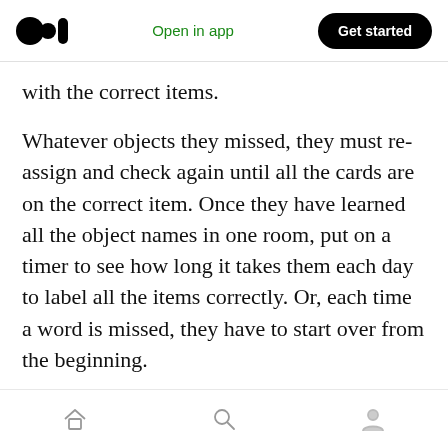Medium logo | Open in app | Get started
with the correct items.
Whatever objects they missed, they must re-assign and check again until all the cards are on the correct item. Once they have learned all the object names in one room, put on a timer to see how long it takes them each day to label all the items correctly. Or, each time a word is missed, they have to start over from the beginning.
This activity can be expanded to each room in the house and
Home | Search | Profile